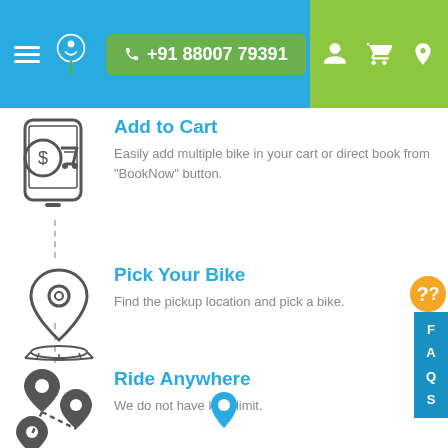[Figure (screenshot): App website header with hamburger menu, logo, phone number button (+91 88007 79391), and icons for user, cart, location on blue/green background]
[Figure (illustration): Icon showing a smartphone with a dollar coin and shopping cart — Add to Cart step]
Add to Cart
Easily add multiple bike in your cart or direct book from "BookNow" button.
[Figure (illustration): Location pin icon on a map — Pick Your Bike step]
Pick Your Bike
Find the pickup location and pick a bike.
[Figure (illustration): Multiple map pins connected with dashed lines — Ride Anywhere step]
Ride Anywhere
We do not have kms limit.
[Figure (illustration): Single blue location pin at bottom center]